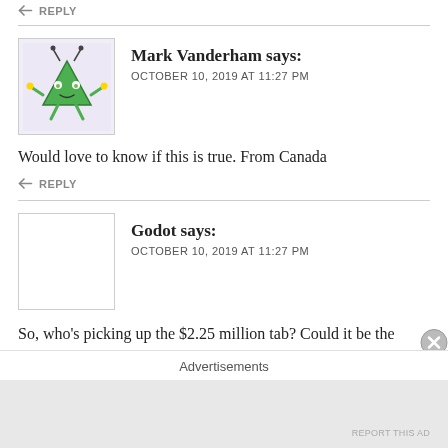↩ REPLY
Mark Vanderham says: OCTOBER 10, 2019 AT 11:27 PM
[Figure (illustration): Green alien/robot avatar with triangle body, antennae, and raised arms on light purple background]
Would love to know if this is true. From Canada
↩ REPLY
Godot says: OCTOBER 10, 2019 AT 11:27 PM
So, who's picking up the $2.25 million tab? Could it be the Canadian Taxpayer? It could go into miscellaneous expenses
Advertisements
REPORT THIS AD